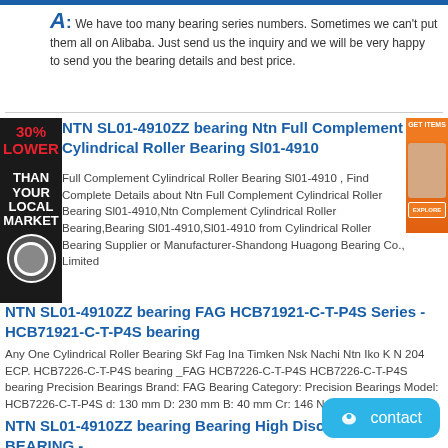A: We have too many bearing series numbers. Sometimes we can't put them all on Alibaba. Just send us the inquiry and we will be very happy to send you the bearing details and best price.
NTN SL01-4910ZZ bearing Ntn Full Complement Cylindrical Roller Bearing Sl01-4910
Full Complement Cylindrical Roller Bearing Sl01-4910 , Find Complete Details about Ntn Full Complement Cylindrical Roller Bearing Sl01-4910,Ntn Complement Cylindrical Roller Bearing,Bearing Sl01-4910,Sl01-4910 from Cylindrical Roller Bearing Supplier or Manufacturer-Shandong Huagong Bearing Co., Limited
NTN SL01-4910ZZ bearing FAG HCB71921-C-T-P4S Series - HCB71921-C-T-P4S bearing
Any One Cylindrical Roller Bearing Skf Fag Ina Timken Nsk Nachi Ntn Iko K N 204 ECP. HCB7226-C-T-P4S bearing _FAG HCB7226-C-T-P4S HCB7226-C-T-P4S bearing Precision Bearings Brand: FAG Bearing Category: Precision Bearings Model: HCB7226-C-T-P4S d: 130 mm D: 230 mm B: 40 mm Cr: 146 N C0r: 150. ...
NTN SL01-4910ZZ bearing Bearing High Discount BEARING -